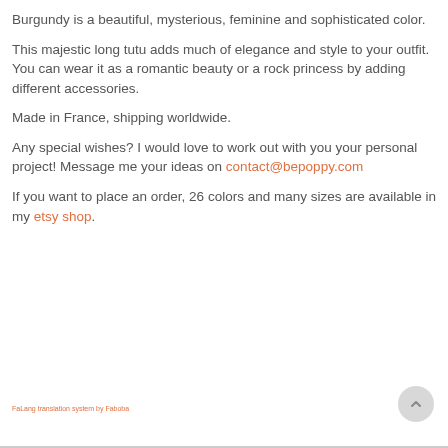Burgundy is a beautiful, mysterious, feminine and sophisticated color.
This majestic long tutu adds much of elegance and style to your outfit. You can wear it as a romantic beauty or a rock princess by adding different accessories.
Made in France, shipping worldwide.
Any special wishes? I would love to work out with you your personal project! Message me your ideas on contact@bepoppy.com
If you want to place an order, 26 colors and many sizes are available in my etsy shop.
FaLang translation system by Faboba